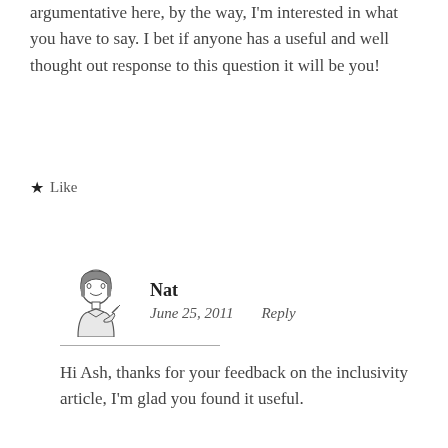argumentative here, by the way, I'm interested in what you have to say. I bet if anyone has a useful and well thought out response to this question it will be you!
★ Like
Nat
June 25, 2011   Reply
Hi Ash, thanks for your feedback on the inclusivity article, I'm glad you found it useful.